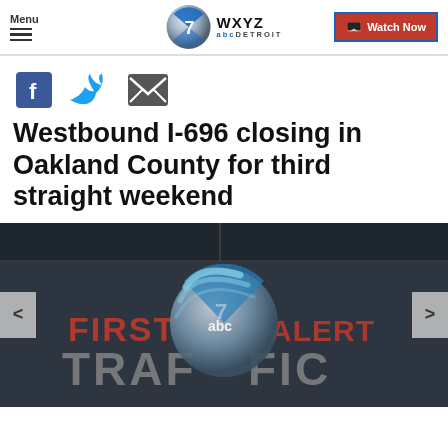Menu | WXYZ abc DETROIT | Watch Now
[Figure (logo): WXYZ abc DETROIT globe logo with blue and silver sphere icon]
[Figure (infographic): Social share icons: Facebook (blue F), Twitter (blue bird), Email (envelope)]
Westbound I-696 closing in Oakland County for third straight weekend
[Figure (screenshot): TV broadcast screenshot showing 'FIRST ALERT TRAFFIC' text with WXYZ 7 abc logo overlay and navigation arrows on left and right sides]